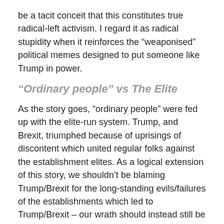be a tacit conceit that this constitutes true radical-left activism. I regard it as radical stupidity when it reinforces the “weaponised” political memes designed to put someone like Trump in power.
“Ordinary people” vs The Elite
As the story goes, “ordinary people” were fed up with the elite-run system. Trump, and Brexit, triumphed because of uprisings of discontent which united regular folks against the establishment elites. As a logical extension of this story, we shouldn’t be blaming Trump/Brexit for the long-standing evils/failures of the establishments which led to Trump/Brexit – our wrath should instead still be directed at those establishments (which are now in a battle with Trump/Brexit).